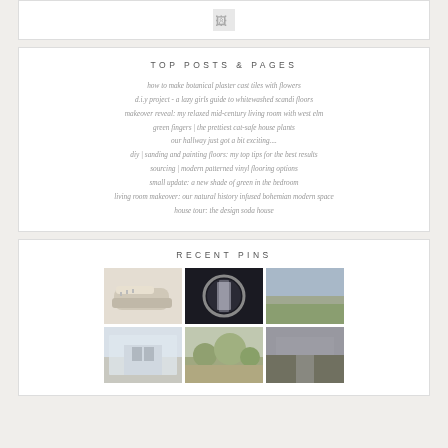[Figure (logo): Small broken image icon / logo placeholder at top center]
TOP POSTS & PAGES
how to make botanical plaster cast tiles with flowers
d.i.y project - a lazy girls guide to whitewashed scandi floors
makeover reveal: my relaxed mid-century living room with west elm
green fingers | the prettiest cat-safe house plants
our hallway just got a bit exciting....
diy | sanding and painting floors: my top tips for the best results
sourcing | modern patterned vinyl flooring options
small update: a new shade of green in the bedroom
living room makeover: our natural history infused bohemian modern space
house tour: the design soda house
RECENT PINS
[Figure (photo): Grid of 6 Pinterest pin images: sneakers, round mirror in dark room, landscape/sky, building exterior, outdoor scene, outdoor scene]